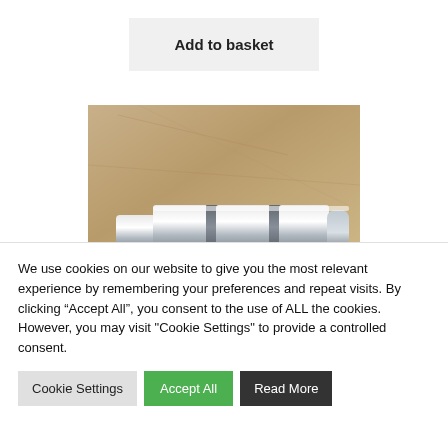Add to basket
[Figure (photo): A metal cylindrical component (possibly a roller or shaft) with grooves, lying on a wooden surface.]
We use cookies on our website to give you the most relevant experience by remembering your preferences and repeat visits. By clicking “Accept All”, you consent to the use of ALL the cookies. However, you may visit "Cookie Settings" to provide a controlled consent.
Cookie Settings
Accept All
Read More